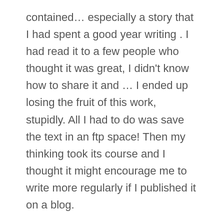contained… especially a story that I had spent a good year writing . I had read it to a few people who thought it was great, I didn't know how to share it and … I ended up losing the fruit of this work, stupidly. All I had to do was save the text in an ftp space! Then my thinking took its course and I thought it might encourage me to write more regularly if I published it on a blog.
Social networks are widely put forward …